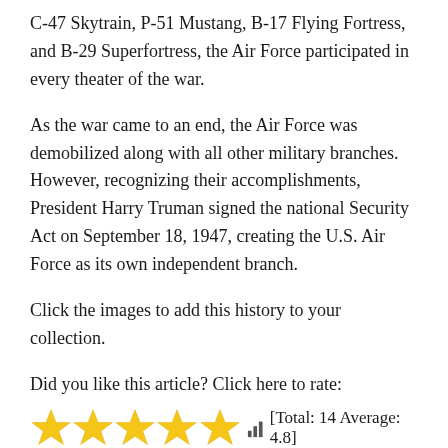C-47 Skytrain, P-51 Mustang, B-17 Flying Fortress, and B-29 Superfortress, the Air Force participated in every theater of the war.
As the war came to an end, the Air Force was demobilized along with all other military branches. However, recognizing their accomplishments, President Harry Truman signed the national Security Act on September 18, 1947, creating the U.S. Air Force as its own independent branch.
Click the images to add this history to your collection.
Did you like this article? Click here to rate:
[Figure (infographic): Five yellow star rating icons followed by a bar chart icon and the text '[Total: 14 Average: 4.8]']